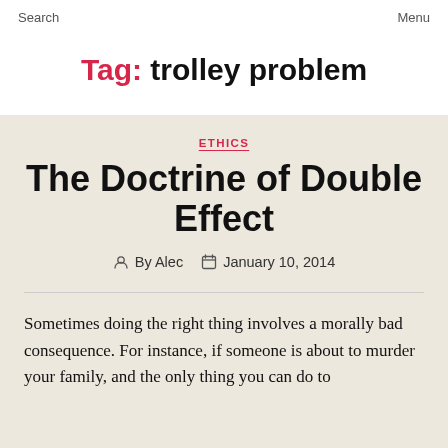Search    Menu
Tag: trolley problem
ETHICS
The Doctrine of Double Effect
By Alec    January 10, 2014
Sometimes doing the right thing involves a morally bad consequence. For instance, if someone is about to murder your family, and the only thing you can do to